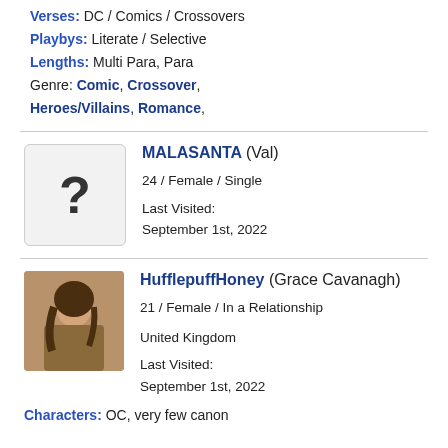Verses: DC / Comics / Crossovers
Playbys: Literate / Selective
Lengths: Multi Para, Para
Genre: Comic, Crossover, Heroes/Villains, Romance,
MALASANTA (Val)
24 / Female / Single
Last Visited:
September 1st, 2022
HufflepuffHoney (Grace Cavanagh)
21 / Female / In a Relationship
United Kingdom
Last Visited:
September 1st, 2022
Characters: OC, very few canon